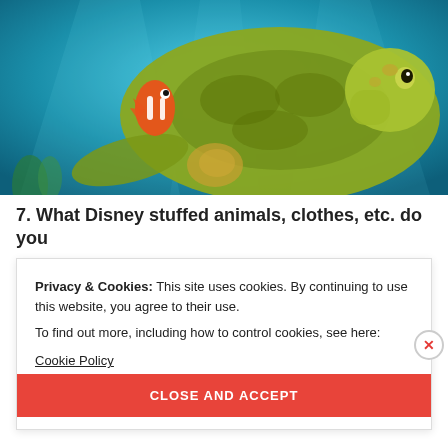[Figure (photo): Animated scene from Finding Nemo showing Nemo (clownfish) riding on the back of Crush the sea turtle underwater, with teal/blue ocean background]
7. What Disney stuffed animals, clothes, etc. do you own/have you owned that you adore?
Privacy & Cookies: This site uses cookies. By continuing to use this website, you agree to their use.
To find out more, including how to control cookies, see here:
Cookie Policy
CLOSE AND ACCEPT